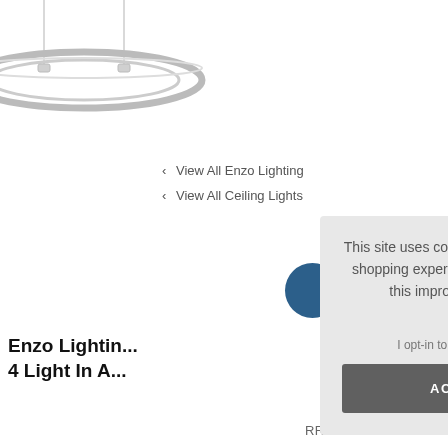[Figure (photo): Partial view of a circular ring ceiling light pendant in silver/chrome finish, shown from below against white background]
‹ View All Enzo Lighting
‹ View All Ceiling Lights
This site uses cookies to provide and improve your shopping experience. If you want to benefit from this improved service, please opt-in. Cookies Page.
I opt-in to a better browsing experience
ACCEPT COOKIES
Enzo Lightin...
4 Light In A...
RRP: £200.00